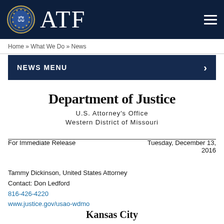ATF
Home » What We Do » News
NEWS MENU
Department of Justice
U.S. Attorney's Office
Western District of Missouri
For Immediate Release
Tuesday, December 13, 2016
Tammy Dickinson, United States Attorney
Contact: Don Ledford
816-426-4220
www.justice.gov/usao-wdmo